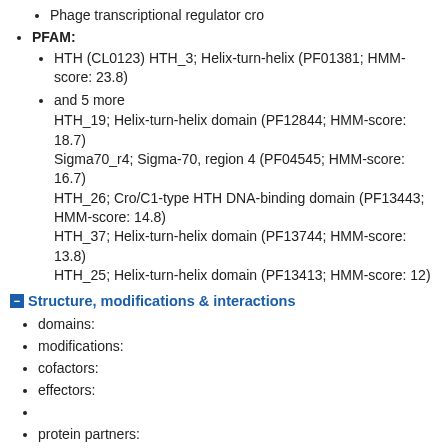Phage transcriptional regulator cro
PFAM:
HTH (CL0123) HTH_3; Helix-turn-helix (PF01381; HMM-score: 23.8)
and 5 more
HTH_19; Helix-turn-helix domain (PF12844; HMM-score: 18.7)
Sigma70_r4; Sigma-70, region 4 (PF04545; HMM-score: 16.7)
HTH_26; Cro/C1-type HTH DNA-binding domain (PF13443; HMM-score: 14.8)
HTH_37; Helix-turn-helix domain (PF13744; HMM-score: 13.8)
HTH_25; Helix-turn-helix domain (PF13413; HMM-score: 12)
Structure, modifications & interactions
domains:
modifications:
cofactors:
effectors:
protein partners:
Localization